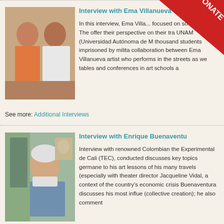[Figure (photo): Photo of two people, a woman and a man, sitting together indoors]
Interview with Ema Villanueva &...
In this interview, Ema Vill... focused on social justice. They offer their perspective on their tr... UNAM (Universidad Autónoma de M... thousand students imprisoned by milita... collaboration between Ema Villanueva... artist who performs in the streets as we... tables and conferences in art schools a...
See more: Additional Interviews
[Figure (photo): Photo of an elderly man with white hair and beard, sitting indoors]
Interview with Enrique Buenaventu...
Interview with renowned Colombian the... Experimental de Cali (TEC), conducted... discusses key topics germane to his ar... lessons of his many travels (especially... with theater director Jacqueline Vidal, a... context of the country's economic crisis... Buenaventura discusses his most influe... (collective creation); he also comment...